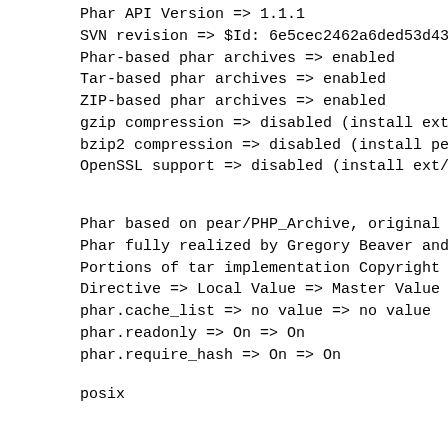Phar API Version => 1.1.1
SVN revision => $Id: 6e5cec2462a6ded53d4379
Phar-based phar archives => enabled
Tar-based phar archives => enabled
ZIP-based phar archives => enabled
gzip compression => disabled (install ext/z
bzip2 compression => disabled (install pecl
OpenSSL support => disabled (install ext/op
Phar based on pear/PHP_Archive, original co
Phar fully realized by Gregory Beaver and M
Portions of tar implementation Copyright (c
Directive => Local Value => Master Value
phar.cache_list => no value => no value
phar.readonly => On => On
phar.require_hash => On => On
posix